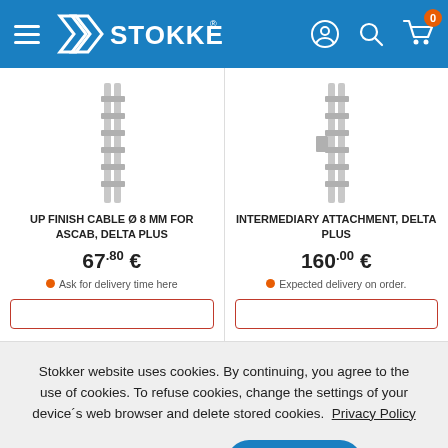[Figure (logo): Stokker website header with hamburger menu, Stokker logo, and icons for account, search, and cart (badge showing 0)]
[Figure (photo): UP FINISH CABLE Ø 8 MM FOR ASCAB, Delta Plus product image showing a cable ladder clamp]
UP FINISH CABLE Ø 8 MM FOR ASCAB, Delta Plus
67.80 €
Ask for delivery time here
[Figure (photo): INTERMEDIARY ATTACHMENT, Delta Plus product image showing a ladder attachment]
INTERMEDIARY ATTACHMENT, Delta Plus
160.00 €
Expected delivery on order.
Stokker website uses cookies. By continuing, you agree to the use of cookies. To refuse cookies, change the settings of your device´s web browser and delete stored cookies.  Privacy Policy
Manage settings
I agree